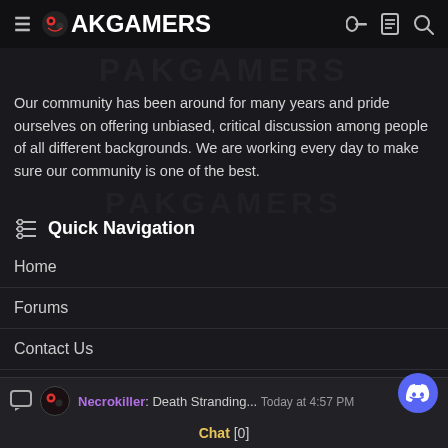PAKGAMERS
Our community has been around for many years and pride ourselves on offering unbiased, critical discussion among people of all different backgrounds. We are working every day to make sure our community is one of the best.
Quick Navigation
Home
Forums
Contact Us
User Menu
Necrokiller: Death Stranding... Today at 4:57 PM
Chat [0]